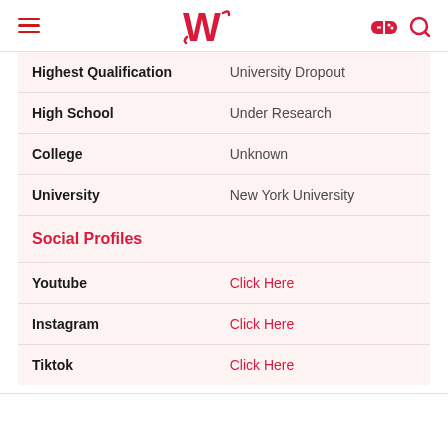W (logo with hamburger menu, game controller icon, search icon)
| Highest Qualification | University Dropout |
| High School | Under Research |
| College | Unknown |
| University | New York University |
| Social Profiles |  |
| Youtube | Click Here |
| Instagram | Click Here |
| Tiktok | Click Here |